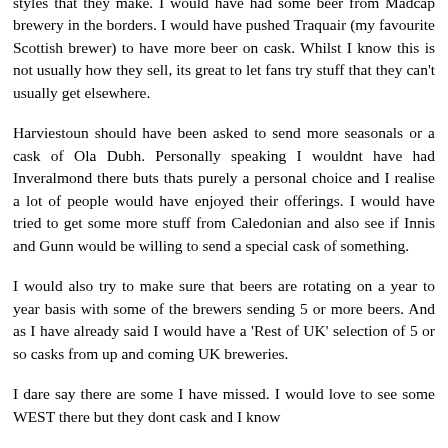styles that they make. I would have had some beer from Madcap brewery in the borders. I would have pushed Traquair (my favourite Scottish brewer) to have more beer on cask. Whilst I know this is not usually how they sell, its great to let fans try stuff that they can't usually get elsewhere.
Harviestoun should have been asked to send more seasonals or a cask of Ola Dubh. Personally speaking I wouldnt have had Inveralmond there buts thats purely a personal choice and I realise a lot of people would have enjoyed their offerings. I would have tried to get some more stuff from Caledonian and also see if Innis and Gunn would be willing to send a special cask of something.
I would also try to make sure that beers are rotating on a year to year basis with some of the brewers sending 5 or more beers. And as I have already said I would have a 'Rest of UK' selection of 5 or so casks from up and coming UK breweries.
I dare say there are some I have missed. I would love to see some WEST there but they dont cask and I know